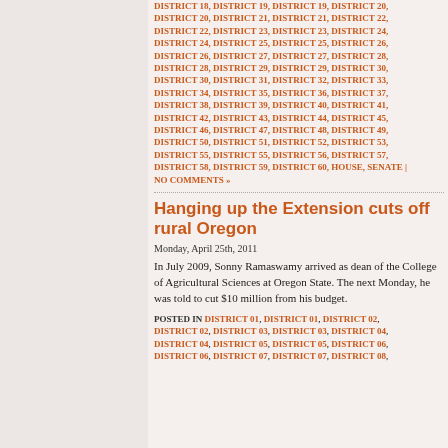DISTRICT 18, DISTRICT 19, DISTRICT 19, DISTRICT 20, DISTRICT 20, DISTRICT 21, DISTRICT 21, DISTRICT 22, DISTRICT 22, DISTRICT 23, DISTRICT 23, DISTRICT 24, DISTRICT 24, DISTRICT 25, DISTRICT 25, DISTRICT 26, DISTRICT 26, DISTRICT 27, DISTRICT 27, DISTRICT 28, DISTRICT 28, DISTRICT 29, DISTRICT 29, DISTRICT 30, DISTRICT 30, DISTRICT 31, DISTRICT 32, DISTRICT 33, DISTRICT 34, DISTRICT 35, DISTRICT 36, DISTRICT 37, DISTRICT 38, DISTRICT 39, DISTRICT 40, DISTRICT 41, DISTRICT 42, DISTRICT 43, DISTRICT 44, DISTRICT 45, DISTRICT 46, DISTRICT 47, DISTRICT 48, DISTRICT 49, DISTRICT 50, DISTRICT 51, DISTRICT 52, DISTRICT 53, DISTRICT 55, DISTRICT 55, DISTRICT 56, DISTRICT 57, DISTRICT 58, DISTRICT 59, DISTRICT 60, HOUSE, SENATE | NO COMMENTS »
Hanging up the Extension cuts off rural Oregon
Monday, April 25th, 2011
In July 2009, Sonny Ramaswamy arrived as dean of the College of Agricultural Sciences at Oregon State. The next Monday, he was told to cut $10 million from his budget.
POSTED IN DISTRICT 01, DISTRICT 01, DISTRICT 02, DISTRICT 02, DISTRICT 03, DISTRICT 03, DISTRICT 04, DISTRICT 04, DISTRICT 05, DISTRICT 05, DISTRICT 06, DISTRICT 06, DISTRICT 07, DISTRICT 07, DISTRICT 08,